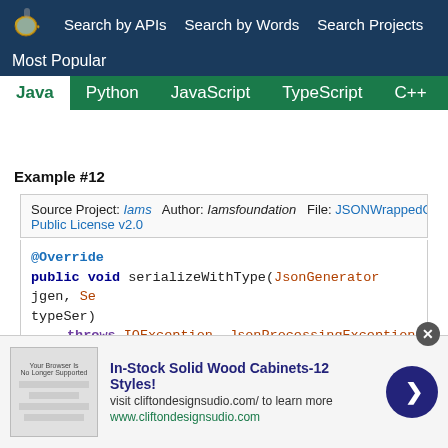Search by APIs   Search by Words   Search Projects   Most Popular
Java  Python  JavaScript  TypeScript  C++  Scala
Example #12
Source Project: Iams   Author: Iamsfoundation   File: JSONWrappedOb...   Public License v2.0
[Figure (screenshot): Java code snippet showing @Override public void serializeWithType(JsonGenerator jgen, Se... typeSer) throws IOException, JsonProcessingException { // No type for JSONP wrapping: value serializer... serialize(jgen, provider); }]
[Figure (infographic): Advertisement: In-Stock Solid Wood Cabinets-12 Styles! visit cliftondesignsudio.com/ to learn more. www.cliftondesignsudio.com]